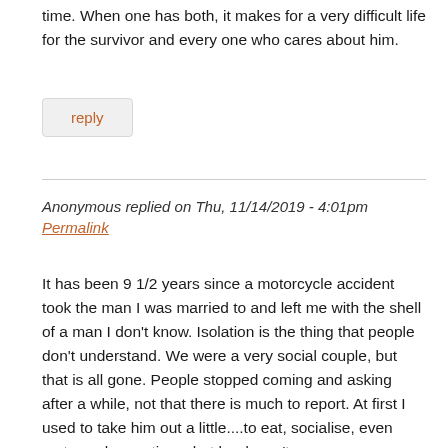time. When one has both, it makes for a very difficult life for the survivor and every one who cares about him.
reply
Anonymous replied on Thu, 11/14/2019 - 4:01pm
Permalink
It has been 9 1/2 years since a motorcycle accident took the man I was married to and left me with the shell of a man I don't know. Isolation is the thing that people don't understand. We were a very social couple, but that is all gone. People stopped coming and asking after a while, not that there is much to report. At first I used to take him out a little....to eat, socialise, even motorcycle meetings, but he doesn't